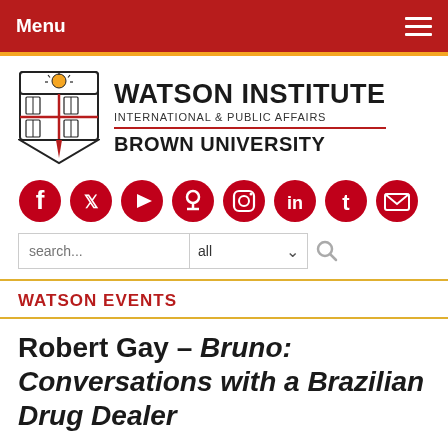Menu
[Figure (logo): Watson Institute International & Public Affairs, Brown University logo with shield crest]
[Figure (infographic): Social media icons: Facebook, Twitter, YouTube, Podcast, Instagram, LinkedIn, Tumblr, Email]
search... all
WATSON EVENTS
Robert Gay – Bruno: Conversations with a Brazilian Drug Dealer